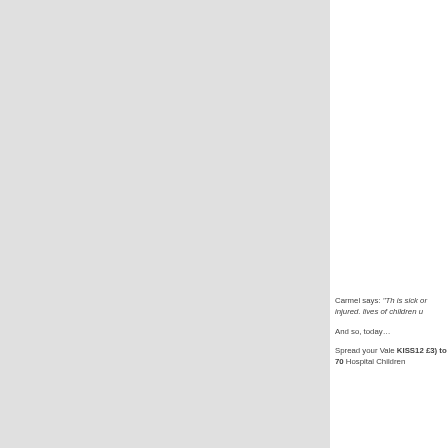[Figure (photo): Large gray rectangle occupying the left portion of the page, representing a photo or image placeholder.]
Carmel says: “Th is sick or injured. lives of children u

And so, today…

Spread your Vale KISS12 £3) to 70 Hospital Children